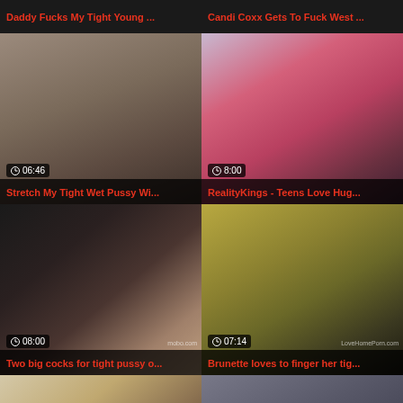Daddy Fucks My Tight Young ...
Candi Coxx Gets To Fuck West ...
[Figure (screenshot): Video thumbnail - close up intimate scene, duration 06:46]
Stretch My Tight Wet Pussy Wi...
[Figure (screenshot): Video thumbnail - woman in pink top, duration 8:00]
RealityKings - Teens Love Hug...
[Figure (screenshot): Video thumbnail - oral scene, duration 08:00]
Two big cocks for tight pussy o...
[Figure (screenshot): Video thumbnail - hands close up, duration 07:14]
Brunette loves to finger her tig...
[Figure (screenshot): Video thumbnail - woman posing, duration 10:03]
[Figure (screenshot): Video thumbnail - couple on couch, duration 06:00]